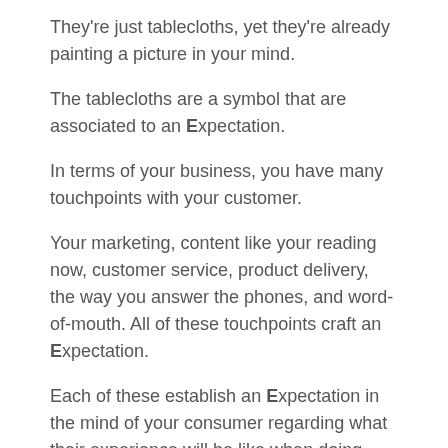They're just tablecloths, yet they're already painting a picture in your mind.
The tablecloths are a symbol that are associated to an Expectation.
In terms of your business, you have many touchpoints with your customer.
Your marketing, content like your reading now, customer service, product delivery, the way you answer the phones, and word-of-mouth. All of these touchpoints craft an Expectation.
Each of these establish an Expectation in the mind of your consumer regarding what their experience will be like when doing business with you.
Now, let's say you've decided the white linen restaurant is a better fit for dinner.
They...